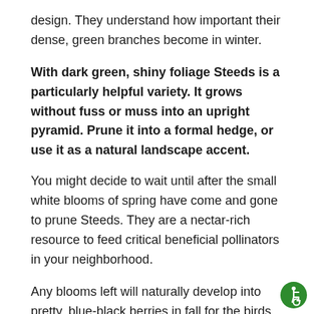design. They understand how important their dense, green branches become in winter.
With dark green, shiny foliage Steeds is a particularly helpful variety. It grows without fuss or muss into an upright pyramid. Prune it into a formal hedge, or use it as a natural landscape accent.
You might decide to wait until after the small white blooms of spring have come and gone to prune Steeds. They are a nectar-rich resource to feed critical beneficial pollinators in your neighborhood.
Any blooms left will naturally develop into pretty, blue-black berries in fall for the birds to feast upon. No pollinator required!
[Figure (logo): Accessibility icon — white wheelchair symbol on green circle background, bottom right corner]